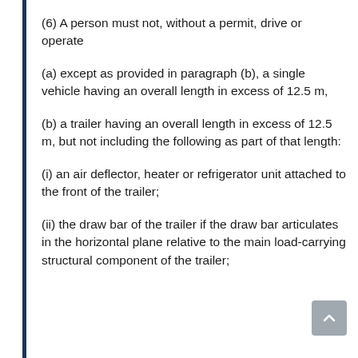(6) A person must not, without a permit, drive or operate
(a) except as provided in paragraph (b), a single vehicle having an overall length in excess of 12.5 m,
(b) a trailer having an overall length in excess of 12.5 m, but not including the following as part of that length:
(i) an air deflector, heater or refrigerator unit attached to the front of the trailer;
(ii) the draw bar of the trailer if the draw bar articulates in the horizontal plane relative to the main load-carrying structural component of the trailer;